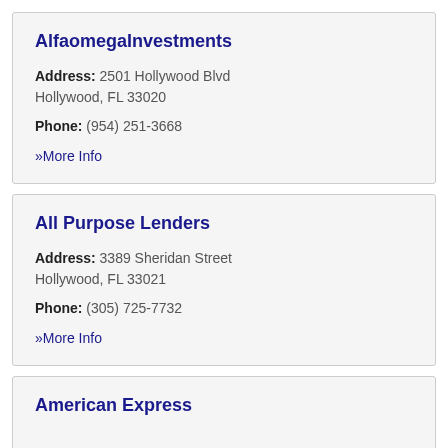AlfaomegaInvestments
Address: 2501 Hollywood Blvd Hollywood, FL 33020
Phone: (954) 251-3668
» More Info
All Purpose Lenders
Address: 3389 Sheridan Street Hollywood, FL 33021
Phone: (305) 725-7732
» More Info
American Express